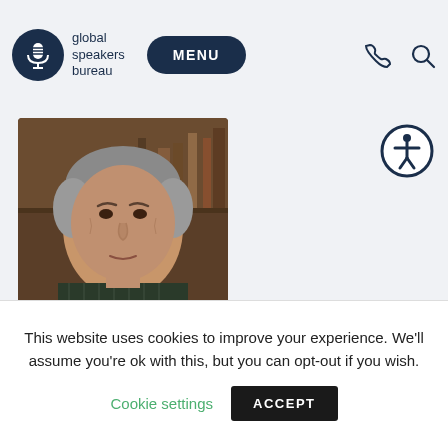[Figure (logo): Global Speakers Bureau logo with circular dark navy icon and text 'global speakers bureau']
MENU
[Figure (photo): Portrait photo of an elderly South Asian man with grey hair wearing a dark striped shirt, seated in front of a bookshelf]
[Figure (illustration): Accessibility icon — person with arms outstretched inside a circle, dark navy outline]
This website uses cookies to improve your experience. We'll assume you're ok with this, but you can opt-out if you wish.
Cookie settings
ACCEPT